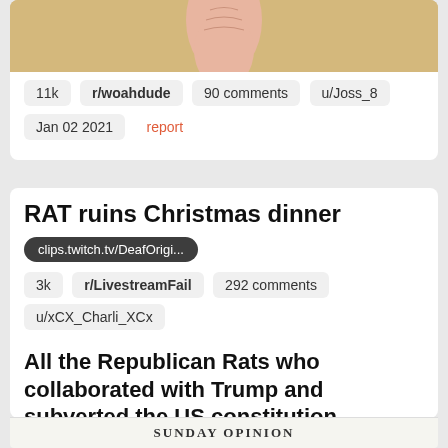[Figure (photo): Partial image of a hand or foot against a golden/yellow background, cropped at top of card]
11k   r/woahdude   90 comments   u/Joss_8
Jan 02 2021   report
RAT ruins Christmas dinner
clips.twitch.tv/DeafOrigi...
3k   r/LivestreamFail   292 comments   u/xCX_Charli_XCx
Dec 25 2020   report
All the Republican Rats who collaborated with Trump and subverted the US constitution
SUNDAY OPINION